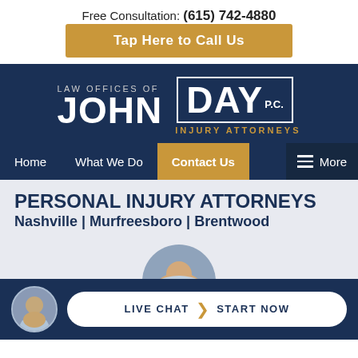Free Consultation: (615) 742-4880
Tap Here to Call Us
[Figure (logo): Law Offices of John Day P.C. Injury Attorneys logo on dark navy background]
Home | What We Do | Contact Us | More
PERSONAL INJURY ATTORNEYS Nashville | Murfreesboro | Brentwood
[Figure (photo): Headshot of attorney John Day in circular avatar, with Live Chat Start Now button]
LIVE CHAT | START NOW